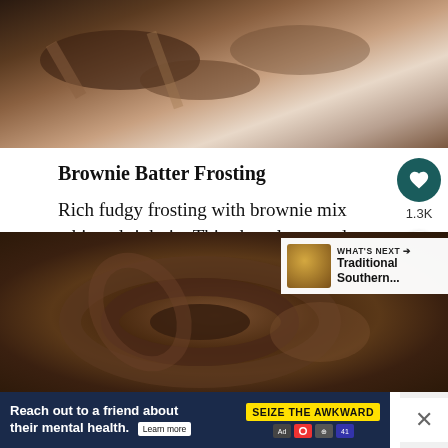[Figure (photo): Close-up photo of chocolate brownie or chocolate pieces being pulled apart, showing melted chocolate texture against a light background.]
Brownie Batter Frosting
Rich fudgy frosting with brownie mix whipped right in. This chocolate goodness is just begging to be put on your next cake.
Get the Recipe
[Figure (photo): Close-up photo of rich dark chocolate frosting swirled on a cake or cupcake, with a purple background.]
Reach out to a friend about their mental health. Learn more
SEIZE THE AWKWARD